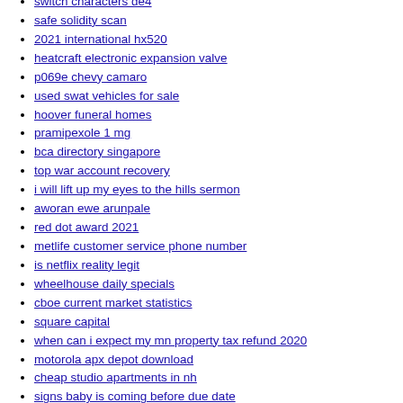switch characters de4
safe solidity scan
2021 international hx520
heatcraft electronic expansion valve
p069e chevy camaro
used swat vehicles for sale
hoover funeral homes
pramipexole 1 mg
bca directory singapore
top war account recovery
i will lift up my eyes to the hills sermon
aworan ewe arunpale
red dot award 2021
metlife customer service phone number
is netflix reality legit
wheelhouse daily specials
cboe current market statistics
square capital
when can i expect my mn property tax refund 2020
motorola apx depot download
cheap studio apartments in nh
signs baby is coming before due date
nft not showing in coinbase wallet
university of minnesota twin cities academic calendar 2022
neferpitou voice actor japanese
buri al babas interiors